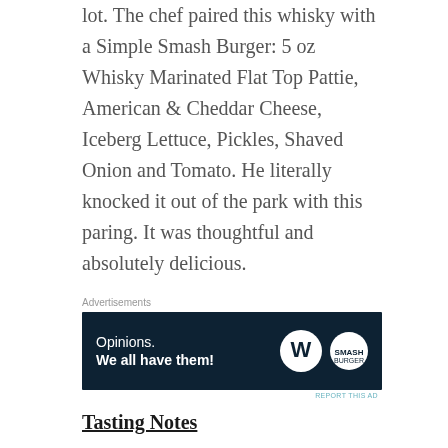lot. The chef paired this whisky with a Simple Smash Burger: 5 oz Whisky Marinated Flat Top Pattie, American & Cheddar Cheese, Iceberg Lettuce, Pickles, Shaved Onion and Tomato. He literally knocked it out of the park with this paring. It was thoughtful and absolutely delicious.
[Figure (screenshot): Advertisement banner with dark navy background showing 'Opinions. We all have them!' text in white with WordPress and secondary logos on the right.]
Tasting Notes
Nose: fruit, smoke, pepper and ginger
Palate: peat smoke, spices, apples, honey and oats
Finish: peat and fruit
Cost: $69 (depending on where you buy)
Yes, it is a peaty whisky, but I found the peat to be